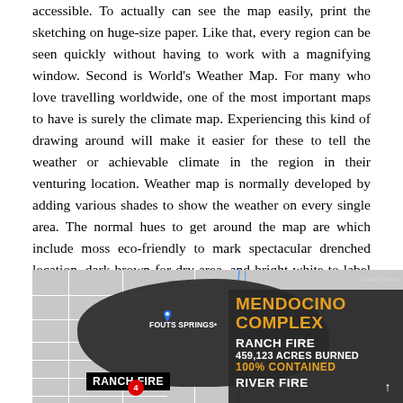accessible. To actually can see the map easily, print the sketching on huge-size paper. Like that, every region can be seen quickly without having to work with a magnifying window. Second is World's Weather Map. For many who love travelling worldwide, one of the most important maps to have is surely the climate map. Experiencing this kind of drawing around will make it easier for these to tell the weather or achievable climate in the region in their venturing location. Weather map is normally developed by adding various shades to show the weather on every single area. The normal hues to get around the map are which include moss eco-friendly to mark spectacular drenched location, dark brown for dry area, and bright white to label the area with ice cubes limit all around it.
[Figure (map): News broadcast map showing the Mendocino Complex fire area. Left portion shows a dark shaded fire area over a grey road map near Fouts Springs with Ranch Fire label. Right panel shows text: MENDOCINO COMPLEX, RANCH FIRE, 459,123 ACRES BURNED, 100% CONTAINED, RIVER FIRE. ABC7 News watermark visible.]